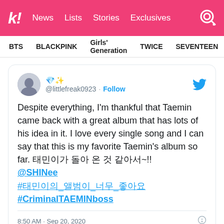k! News  Lists  Stories  Exclusives
BTS  BLACKPINK  Girls' Generation  TWICE  SEVENTEEN
[Figure (screenshot): Tweet from @littlefreak0923 with diamond and sparkle emojis. Text: Despite everything, I'm thankful that Taemin came back with a great album that has lots of his idea in it. I love every single song and I can say that this is my favorite Taemin's album so far. 태민이가 돌아 온 것 같아서~!! @SHINee #태민이의_앨범_좋아 #CriminalTAEMINboss. Timestamp: 8:50 AM · Sep 20, 2020]